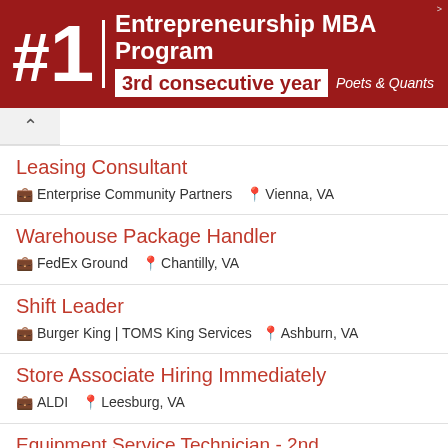[Figure (infographic): Advertisement banner: #1 Entrepreneurship MBA Program 3rd consecutive year — Poets & Quants]
Leasing Consultant | Enterprise Community Partners | Vienna, VA
Warehouse Package Handler | FedEx Ground | Chantilly, VA
Shift Leader | Burger King | TOMS King Services | Ashburn, VA
Store Associate Hiring Immediately | ALDI | Leesburg, VA
Equipment Service Technician - 2nd shift - Sterling, VA | Sheetz | Sterling, VA